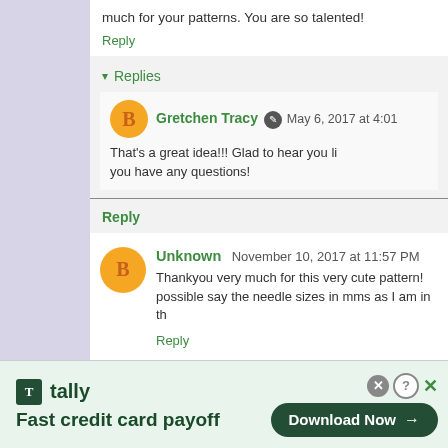much for your patterns. You are so talented!
Reply
Replies
Gretchen Tracy  May 6, 2017 at 4:01
That's a great idea!!! Glad to hear you li... you have any questions!
Reply
Unknown  November 10, 2017 at 11:57 PM
Thankyou very much for this very cute pattern! possible say the needle sizes in mms as I am in th...
Reply
[Figure (infographic): Tally advertisement banner: 'Fast credit card payoff' with a 'Download Now' button]